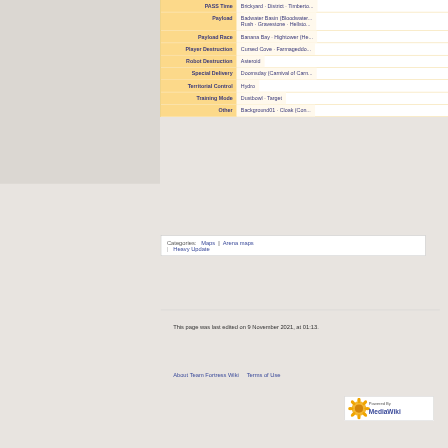| Category | Maps |
| --- | --- |
| PASS Time | Brickyard · District · Timberto... |
| Payload | Badwater Basin (Bloodwater...
Rush · Gravestone · Hellsto... |
| Payload Race | Banana Bay · Hightower (He... |
| Player Destruction | Cursed Cove · Farmageddo... |
| Robot Destruction | Asteroid |
| Special Delivery | Doomsday (Carnival of Carn... |
| Territorial Control | Hydro |
| Training Mode | Dustbowl · Target |
| Other | Background01 · Cloak (Con... |
Categories:  Maps  |  Arena maps  |  Heavy Update
This page was last edited on 9 November 2021, at 01:13.
About Team Fortress Wiki    Terms of Use
[Figure (logo): Powered by MediaWiki badge/logo]